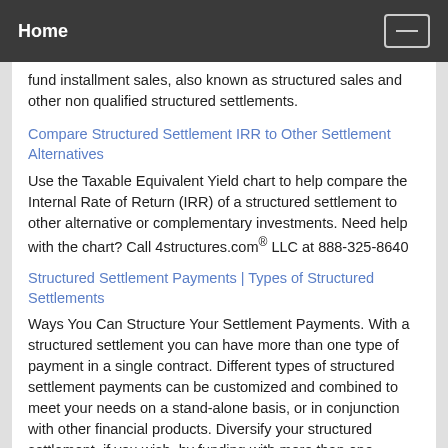Home
fund installment sales, also known as structured sales and other non qualified structured settlements.
Compare Structured Settlement IRR to Other Settlement Alternatives
Use the Taxable Equivalent Yield chart to help compare the Internal Rate of Return (IRR) of a structured settlement to other alternative or complementary investments. Need help with the chart? Call 4structures.com® LLC at 888-325-8640
Structured Settlement Payments | Types of Structured Settlements
Ways You Can Structure Your Settlement Payments. With a structured settlement you can have more than one type of payment in a single contract. Different types of structured settlement payments can be customized and combined to meet your needs on a stand-alone basis, or in conjunction with other financial products. Diversify your structured settlement, if you wish, by funding with more than one annuity issuer,